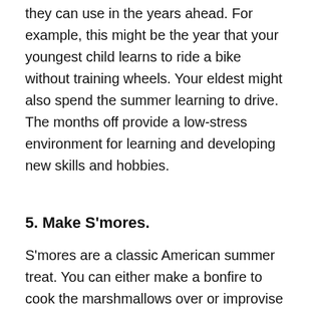they can use in the years ahead. For example, this might be the year that your youngest child learns to ride a bike without training wheels. Your eldest might also spend the summer learning to drive. The months off provide a low-stress environment for learning and developing new skills and hobbies.
5. Make S'mores.
S'mores are a classic American summer treat. You can either make a bonfire to cook the marshmallows over or improvise in your home. Heat up the marshmallows until they are fluffy and gooey (some people like a crispy, burnt crust on the outside). Then, smash them between two graham crackers and a piece of milk chocolate. The